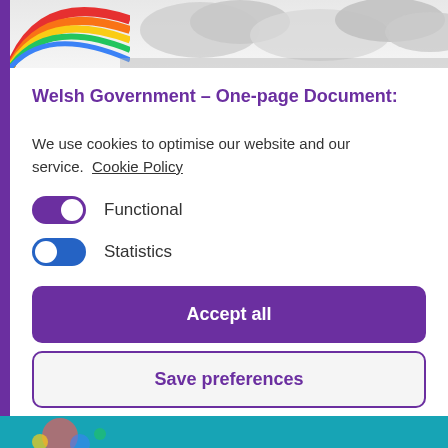[Figure (illustration): Welsh Government website header with rainbow and clouds on left, grey cloudy sky on right. Purple left border bar.]
Welsh Government – One-page Document:
We use cookies to optimise our website and our service.  Cookie Policy
Functional (toggle on)
Statistics (toggle off/left)
Accept all
Save preferences
[Figure (illustration): Teal/blue footer strip with partial decorative illustration visible at bottom.]